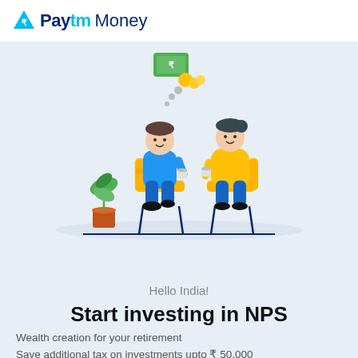Paytm Money
[Figure (illustration): Two people sitting on chairs having a conversation with cups, a thought bubble showing money (rupee notes and coins), and a plant in the background. Flat design illustration.]
Hello India!
Start investing in NPS
Wealth creation for your retirement
Save additional tax on investments upto ₹ 50,000